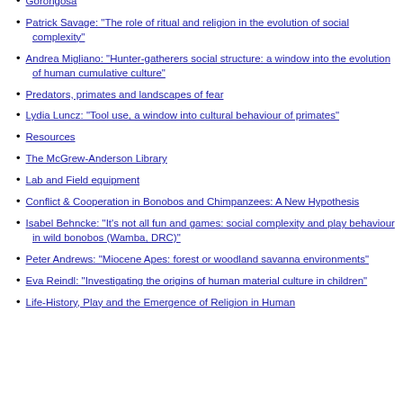Gorongosa
Patrick Savage: "The role of ritual and religion in the evolution of social complexity"
Andrea Migliano: "Hunter-gatherers social structure: a window into the evolution of human cumulative culture"
Predators, primates and landscapes of fear
Lydia Luncz: "Tool use, a window into cultural behaviour of primates"
Resources
The McGrew-Anderson Library
Lab and Field equipment
Conflict & Cooperation in Bonobos and Chimpanzees: A New Hypothesis
Isabel Behncke: "It's not all fun and games: social complexity and play behaviour in wild bonobos (Wamba, DRC)"
Peter Andrews: "Miocene Apes: forest or woodland savanna environments"
Eva Reindl: "Investigating the origins of human material culture in children"
Life-History, Play and the Emergence of Religion in Human